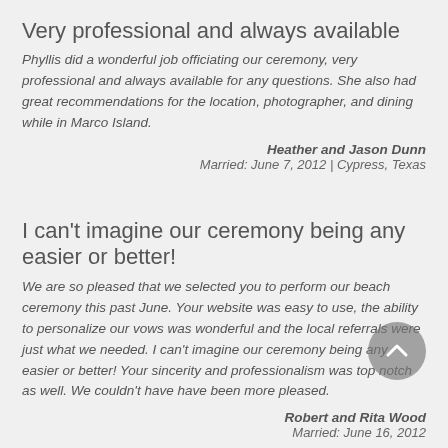Very professional and always available
Phyllis did a wonderful job officiating our ceremony, very professional and always available for any questions. She also had great recommendations for the location, photographer, and dining while in Marco Island.
Heather and Jason Dunn
Married: June 7, 2012 | Cypress, Texas
I can't imagine our ceremony being any easier or better!
We are so pleased that we selected you to perform our beach ceremony this past June. Your website was easy to use, the ability to personalize our vows was wonderful and the local referrals were just what we needed. I can't imagine our ceremony being any easier or better! Your sincerity and professionalism was top notch as well. We couldn't have have been more pleased.
Robert and Rita Wood
Married: June 16, 2012